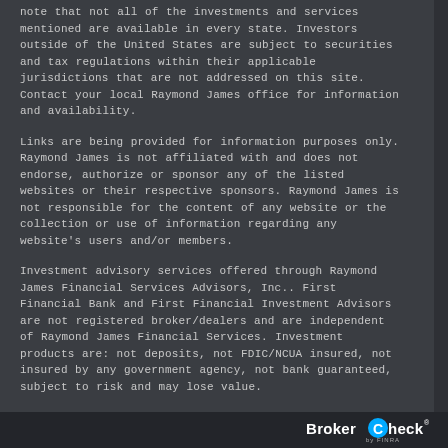note that not all of the investments and services mentioned are available in every state. Investors outside of the United States are subject to securities and tax regulations within their applicable jurisdictions that are not addressed on this site. Contact your local Raymond James office for information and availability.
Links are being provided for information purposes only. Raymond James is not affiliated with and does not endorse, authorize or sponsor any of the listed websites or their respective sponsors. Raymond James is not responsible for the content of any website or the collection or use of information regarding any website's users and/or members.
Investment advisory services offered through Raymond James Financial Services Advisors, Inc.. First Financial Bank and First Financial Investment Advisors are not registered broker/dealers and are independent of Raymond James Financial Services. Investment products are: not deposits, not FDIC/NCUA insured, not insured by any government agency, not bank guaranteed, subject to risk and may lose value.
© 2022 Securities offered through Raymond James Financial Services, Inc., member FINRA / SIPC | Legal Disclosures | Privacy, Security & Account Protection | Terms of Use
BrokerCheck by FINRA